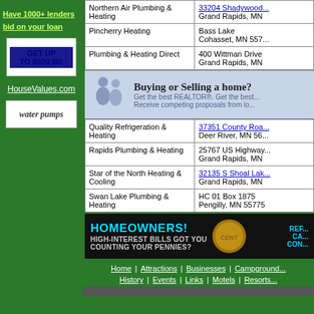Have 1000+ lenders bid on your loan
[Figure (infographic): Get up to $500.00 advertisement banner]
HouseValues.com
[Figure (infographic): water pumps advertisement]
| Business Name | Address |
| --- | --- |
| Northern Air Plumbing & Heating | 33204 Shadywood...
Grand Rapids, MN |
| Pincherry Heating | Bass Lake
Cohasset, MN 557... |
| Plumbing & Heating Direct | 400 Wittman Drive
Grand Rapids, MN |
| Quality Refrigeration & Heating | 37351 County Roa...
Deer River, MN 56... |
| Rapids Plumbing & Heating | 25767 US Highway...
Grand Rapids, MN |
| Star of the North Heating & Cooling | 32135 S Shoal Lak...
Grand Rapids, MN |
| Swan Lake Plumbing & Heating | HC 01 Box 1875
Pengilly, MN 55775 |
[Figure (infographic): Buying or Selling a home? Get the best REALTOR banner]
[Figure (infographic): Homeowners! High-interest bills got you counting your pennies? advertisement banner]
Home | Attractions | Businesses | Campground...
History | Events | Links | Motels | Resorts...